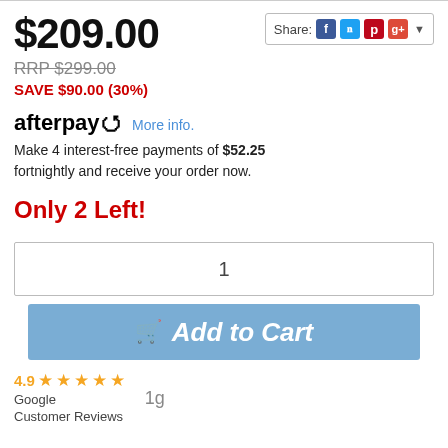$209.00
RRP $299.00
SAVE $90.00 (30%)
[Figure (logo): Afterpay logo with arrow icon and 'More info.' link]
Make 4 interest-free payments of $52.25 fortnightly and receive your order now.
Only 2 Left!
1
Add to Cart
4.9 ★★★★★ Google Customer Reviews
1g